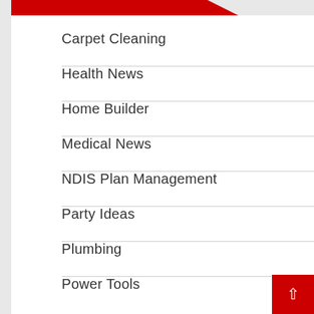Carpet Cleaning
Health News
Home Builder
Medical News
NDIS Plan Management
Party Ideas
Plumbing
Power Tools